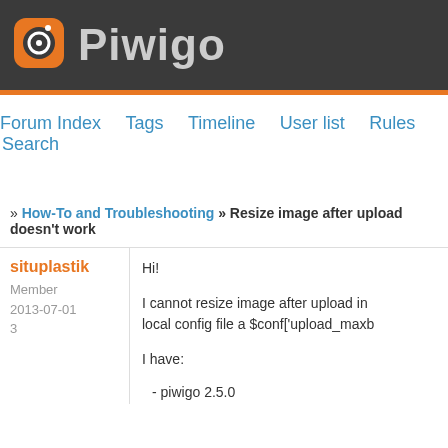[Figure (logo): Piwigo logo: orange camera icon on dark grey background with 'Piwigo' text in grey]
Forum Index   Tags   Timeline   User list   Rules   Search
» How-To and Troubleshooting » Resize image after upload doesn't work
situplastik
Member
2013-07-01
3
Hi!

I cannot resize image after upload in local config file a $conf['upload_maxb

I have:
- piwigo 2.5.0